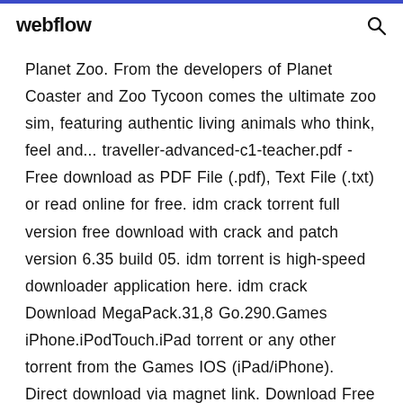webflow
Planet Zoo. From the developers of Planet Coaster and Zoo Tycoon comes the ultimate zoo sim, featuring authentic living animals who think, feel and... traveller-advanced-c1-teacher.pdf - Free download as PDF File (.pdf), Text File (.txt) or read online for free. idm crack torrent full version free download with crack and patch version 6.35 build 05. idm torrent is high-speed downloader application here. idm crack Download MegaPack.31,8 Go.290.Games iPhone.iPodTouch.iPad torrent or any other torrent from the Games IOS (iPad/iPhone). Direct download via magnet link. Download Free PC Games - CPY - Baldman - Steampunks - No DenuvoPlanet coaster beta | Planet Coaster